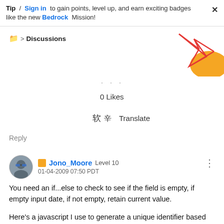Tip / Sign in to gain points, level up, and earn exciting badges like the new Bedrock Mission!
Discussions
0 Likes
Translate
Reply
Jono_Moore  Level 10  01-04-2009 07:50 PDT
You need an if...else to check to see if the field is empty, if empty input date, if not empty, retain current value.
Here's a javascript I use to generate a unique identifier based on the date and time the form is opened: